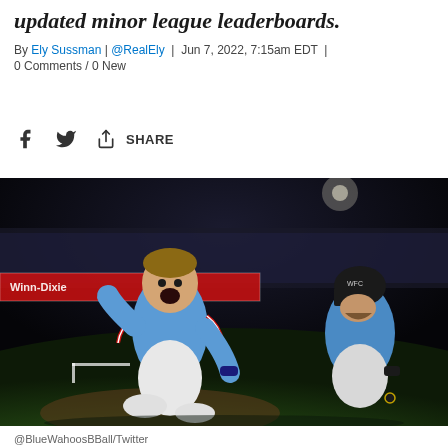updated minor league leaderboards.
By Ely Sussman | @RealEly | Jun 7, 2022, 7:15am EDT | 0 Comments / 0 New
[Figure (other): Social share bar with Facebook, Twitter, and share icons]
[Figure (photo): Baseball player in blue uniform celebrating on field, yelling with mouth open, being greeted by teammate. Stadium crowd visible in background. Winn-Dixie advertisement visible on outfield wall.]
@BlueWahoosBBall/Twitter